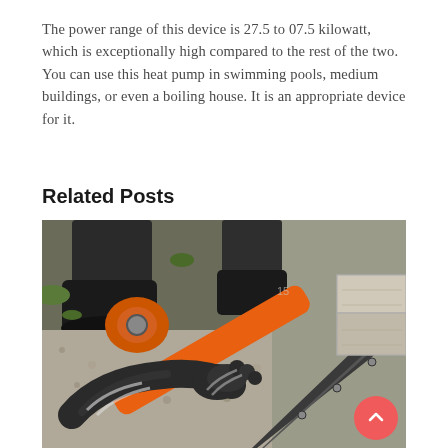The power range of this device is 27.5 to 07.5 kilowatt, which is exceptionally high compared to the rest of the two. You can use this heat pump in swimming pools, medium buildings, or even a boiling house. It is an appropriate device for it.
Related Posts
[Figure (photo): A person wearing work gloves holds an orange-handled hammer tool near a metal channel or rail, with paving stones and gravel visible. The worker is kneeling on a construction or paving site.]